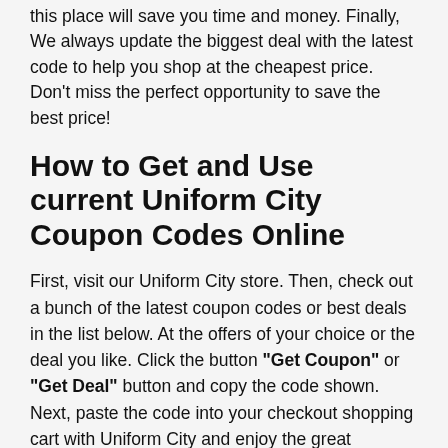this place will save you time and money. Finally, We always update the biggest deal with the latest code to help you shop at the cheapest price. Don't miss the perfect opportunity to save the best price!
How to Get and Use current Uniform City Coupon Codes Online
First, visit our Uniform City store. Then, check out a bunch of the latest coupon codes or best deals in the list below. At the offers of your choice or the deal you like. Click the button "Get Coupon" or "Get Deal" button and copy the code shown. Next, paste the code into your checkout shopping cart with Uniform City and enjoy the great savings, now.
What should I do when Uniform City Coupon Codes Didn't Work?